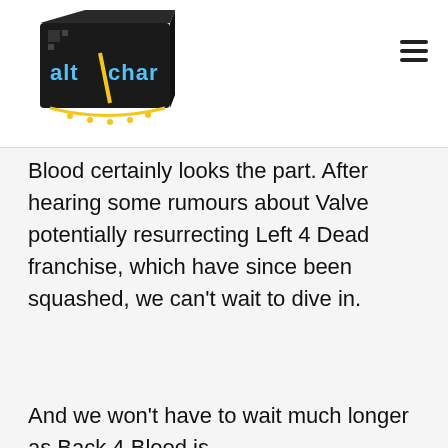AltChar logo and navigation
Blood certainly looks the part. After hearing some rumours about Valve potentially resurrecting Left 4 Dead franchise, which have since been squashed, we can't wait to dive in.
And we won't have to wait much longer as Back 4 Blood is